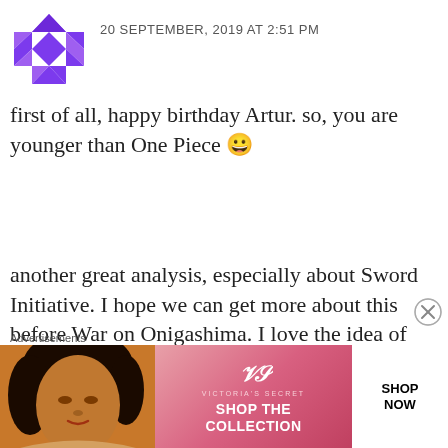[Figure (illustration): Purple geometric avatar/logo with diamond/triangle pattern]
20 SEPTEMBER, 2019 AT 2:51 PM
first of all, happy birthday Artur. so, you are younger than One Piece 😀
another great analysis, especially about Sword Initiative. I hope we can get more about this before War on Onigashima. I love the idea of another entity besides WG/Marines but not Revo Army. which partially explained about Kuzan's status
Advertisements
[Figure (photo): Victoria's Secret advertisement banner with woman, VS logo, 'SHOP THE COLLECTION' text and 'SHOP NOW' button]